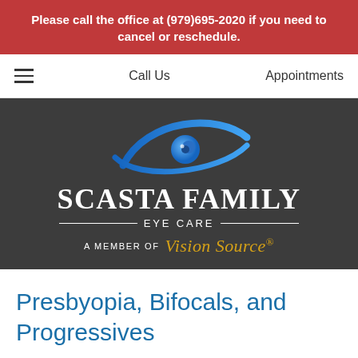Please call the office at (979)695-2020 if you need to cancel or reschedule.
Call Us | Appointments
[Figure (logo): Scasta Family Eye Care logo with stylized blue eye icon, white serif text 'SCASTA FAMILY EYE CARE', decorative lines, and 'A MEMBER OF Vision Source' tagline on dark gray background]
Presbyopia, Bifocals, and Progressives